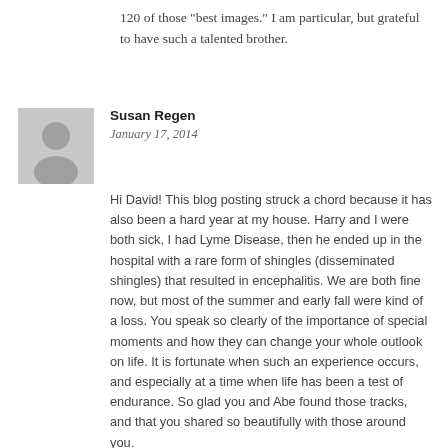120 of those “best images.” I am particular, but grateful to have such a talented brother.
[Figure (illustration): Gray silhouette avatar placeholder image for user Susan Regen]
Susan Regen
January 17, 2014
Hi David! This blog posting struck a chord because it has also been a hard year at my house. Harry and I were both sick, I had Lyme Disease, then he ended up in the hospital with a rare form of shingles (disseminated shingles) that resulted in encephalitis. We are both fine now, but most of the summer and early fall were kind of a loss. You speak so clearly of the importance of special moments and how they can change your whole outlook on life. It is fortunate when such an experience occurs, and especially at a time when life has been a test of endurance. So glad you and Abe found those tracks, and that you shared so beautifully with those around you.
I stopped taking photographs for quite a while with everything that was going on. And when I had just taken some that I consider among my best! It has been difficult to get out and do it, especially with the recent bitterly cold weather (soon to